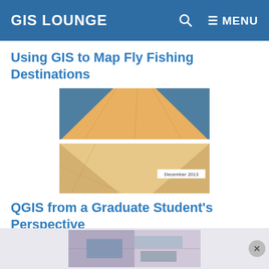GIS LOUNGE   🔍   ≡ MENU
Using GIS to Map Fly Fishing Destinations
[Figure (map): A GIS terrain map image showing topographic relief with blue diagonal bands and orange/tan terrain, labeled 'December 2013' in lower right corner.]
QGIS from a Graduate Student's Perspective
[Figure (map): Bottom advertisement banner showing a partial GIS/map image.]